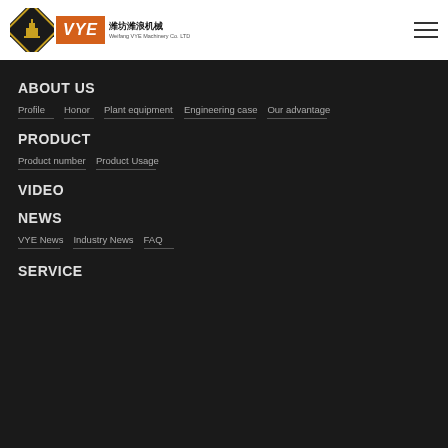[Figure (logo): Weifang VYE Machinery Co. LTD logo with diamond emblem and orange VYE text]
ABOUT US
Profile
Honor
Plant equipment
Engineering case
Our advantage
PRODUCT
Product number
Product Usage
VIDEO
NEWS
VYE News
Industry News
FAQ
SERVICE